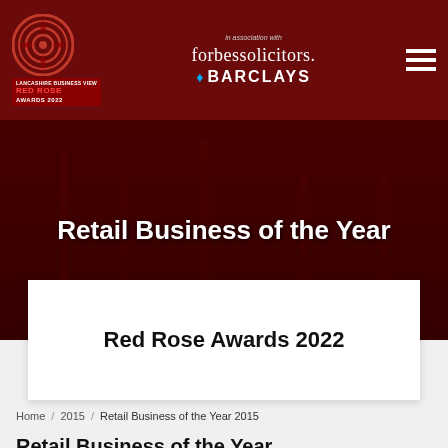[Figure (logo): Red Rose Awards 2022 logo with circular target design in dark red, Forbes Solicitors and Barclays sponsor logos, hamburger menu icon]
Retail Business of the Year
Red Rose Awards 2022
Home / 2015 / Retail Business of the Year 2015
Retail Business of the Year